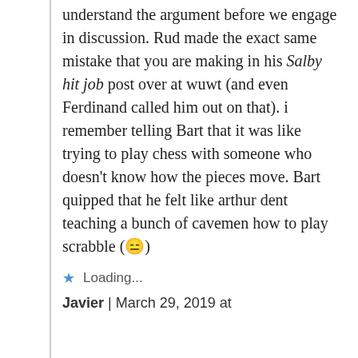understand the argument before we engage in discussion. Rud made the exact same mistake that you are making in his Salby hit job post over at wuwt (and even Ferdinand called him out on that). i remember telling Bart that it was like trying to play chess with someone who doesn't know how the pieces move. Bart quipped that he felt like arthur dent teaching a bunch of cavemen how to play scrabble (😑)
Loading...
Javier | March 29, 2019 at